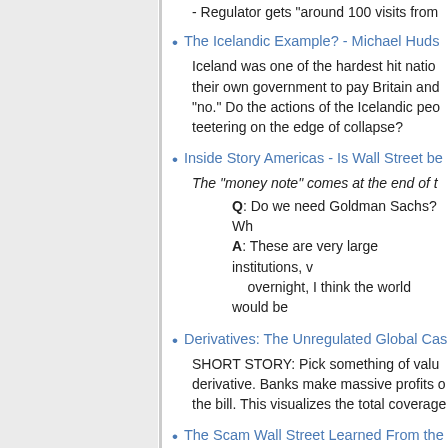- Regulator gets "around 100 visits from
The Icelandic Example? - Michael Huds...
Iceland was one of the hardest hit nations... their own government to pay Britain and... "no." Do the actions of the Icelandic peo... teetering on the edge of collapse?
Inside Story Americas - Is Wall Street be...
The "money note" comes at the end of t...
Q: Do we need Goldman Sachs? Wh...
A: These are very large institutions, v... overnight, I think the world would be...
Derivatives: The Unregulated Global Ca...
SHORT STORY: Pick something of valu... derivative. Banks make massive profits o... the bill. This visualizes the total coverage...
The Scam Wall Street Learned From the...
How America's biggest banks took part i...